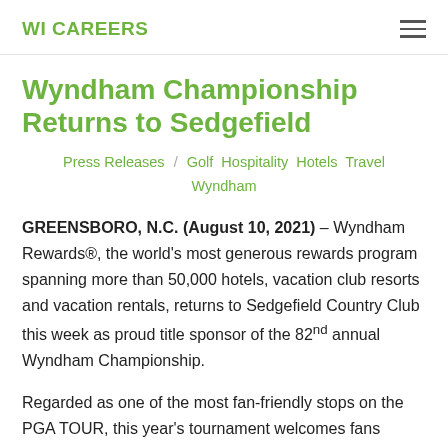WI CAREERS
Wyndham Championship Returns to Sedgefield
Press Releases / Golf Hospitality Hotels Travel Wyndham
GREENSBORO, N.C. (August 10, 2021) – Wyndham Rewards®, the world's most generous rewards program spanning more than 50,000 hotels, vacation club resorts and vacation rentals, returns to Sedgefield Country Club this week as proud title sponsor of the 82nd annual Wyndham Championship.
Regarded as one of the most fan-friendly stops on the PGA TOUR, this year's tournament welcomes fans